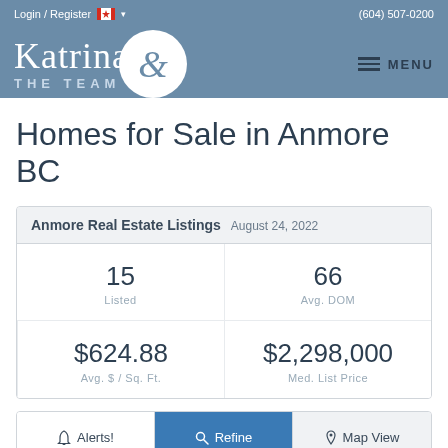Login / Register  (604) 507-0200
[Figure (logo): Katrina & The Team real estate logo with circle ampersand emblem on blue-grey header bar with MENU button]
Homes for Sale in Anmore BC
| Anmore Real Estate Listings | August 24, 2022 |
| --- | --- |
| 15 | 66 |
| Listed | Avg. DOM |
| $624.88 | $2,298,000 |
| Avg. $ / Sq. Ft. | Med. List Price |
Alerts!  Refine  Map View